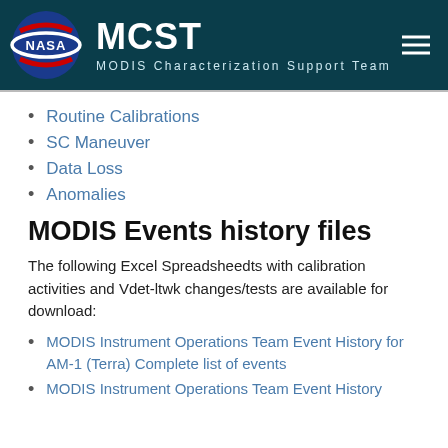MCST MODIS Characterization Support Team
Routine Calibrations
SC Maneuver
Data Loss
Anomalies
MODIS Events history files
The following Excel Spreadsheedts with calibration activities and Vdet-ltwk changes/tests are available for download:
MODIS Instrument Operations Team Event History for AM-1 (Terra) Complete list of events
MODIS Instrument Operations Team Event History for PM-1 (Aqua) Complete list of events